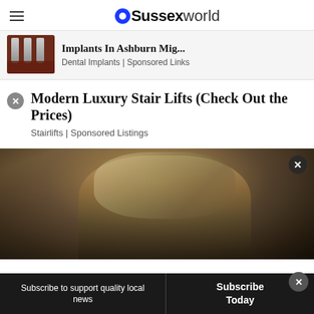OSussex World
Implants In Ashburn Mig... | Dental Implants | Sponsored Links
Modern Luxury Stair Lifts (Check Out the Prices)
Stairlifts | Sponsored Listings
[Figure (photo): Close-up photo of a person's head with grey/blonde hair, dark background]
Subscribe to support quality local news
Subscribe Today